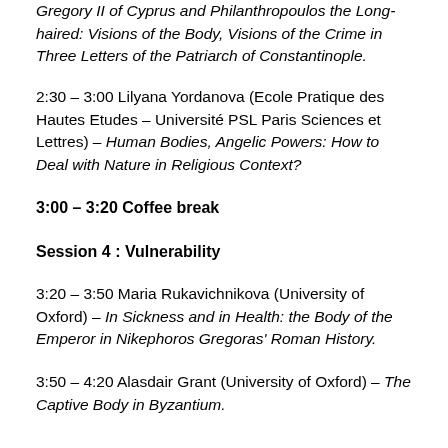Gregory II of Cyprus and Philanthropoulos the Long-haired: Visions of the Body, Visions of the Crime in Three Letters of the Patriarch of Constantinople.
2:30 – 3:00 Lilyana Yordanova (Ecole Pratique des Hautes Etudes – Université PSL Paris Sciences et Lettres) – Human Bodies, Angelic Powers: How to Deal with Nature in Religious Context?
3:00 – 3:20 Coffee break
Session 4 : Vulnerability
3:20 – 3:50 Maria Rukavichnikova (University of Oxford) – In Sickness and in Health: the Body of the Emperor in Nikephoros Gregoras' Roman History.
3:50 – 4:20 Alasdair Grant (University of Oxford) – The Captive Body in Byzantium.